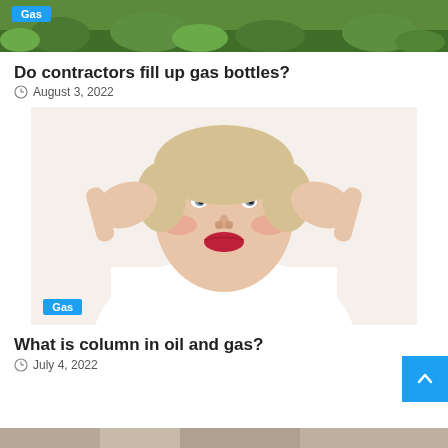[Figure (photo): Top partial image showing green grass background with a blue 'Gas' badge in top-left corner]
Do contractors fill up gas bottles?
August 3, 2022
[Figure (photo): Woman in white turtleneck holding both hands to her temples, looking stressed, with a blue 'Gas' badge in lower-left corner]
What is column in oil and gas?
July 4, 2022
[Figure (photo): Bottom strip partially visible image]